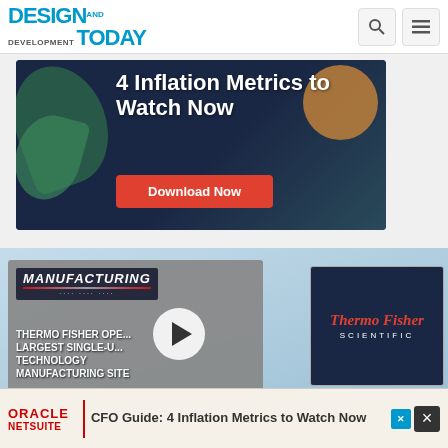[Figure (screenshot): Design and Development Today website navigation bar with logo, search icon, and hamburger menu icon]
[Figure (infographic): Oracle NetSuite advertisement banner: '4 Inflation Metrics to Watch Now' with Download Now button on dark navy background with leaf/organic shapes]
[Figure (screenshot): Manufacturing Today video thumbnail showing 'THERMO FISHER OPENS LARGEST SINGLE-USE TECHNOLOGY MANUFACTURING SITE' with play button overlay and Thermo Fisher Scientific logo panel]
[Figure (infographic): Bottom banner ad for Oracle NetSuite: CFO Guide: 4 Inflation Metrics to Watch Now]